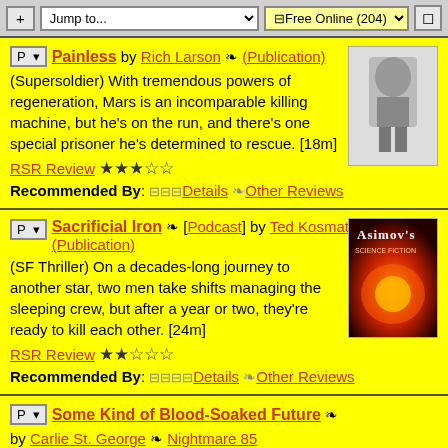+ Jump to... | Free Online (204) |
P ▾ Painless by Rich Larson ❧ (Publication)
(Supersoldier) With tremendous powers of regeneration, Mars is an incomparable killing machine, but he's on the run, and there's one special prisoner he's determined to rescue. [18m]
RSR Review ★★★☆☆
Recommended By: ⊞⊞⊞Details ❧Other Reviews
P ▾ Sacrificial Iron ❧ [Podcast] by Ted Kosmatka ❧ (Publication)
(SF Thriller) On a decades-long journey to another star, two men take shifts managing the sleeping crew, but after a year or two, they're ready to kill each other. [24m]
RSR Review ★★☆☆☆
Recommended By: ⊞⊞⊞⊞Details ❧Other Reviews
P ▾ Some Kind of Blood-Soaked Future ❧
by Carlie St. George ❧ Nightmare 85
Not reviewed by Rocket Stack Rank. [14m]
Recommended By: ⊞⊞⊞⊞Details ❧Other Reviews
P ▾ The Girl Who Did Not Know Fear by Kelly Link ❧